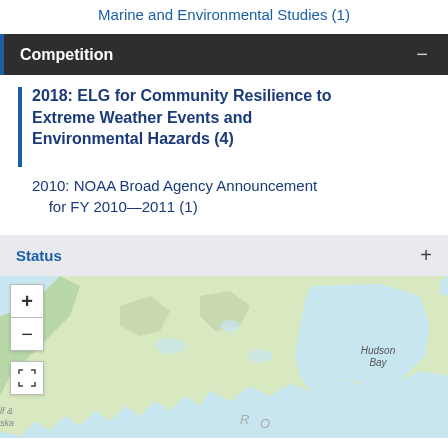Marine and Environmental Studies (1)
Competition
2018: ELG for Community Resilience to Extreme Weather Events and Environmental Hazards (4)
2010: NOAA Broad Agency Announcement for FY 2010—2011 (1)
Status
[Figure (map): Interactive map showing North America with zoom controls and a fullscreen button. Hudson Bay is labeled. Map shows terrain features of Canada and surrounding regions.]